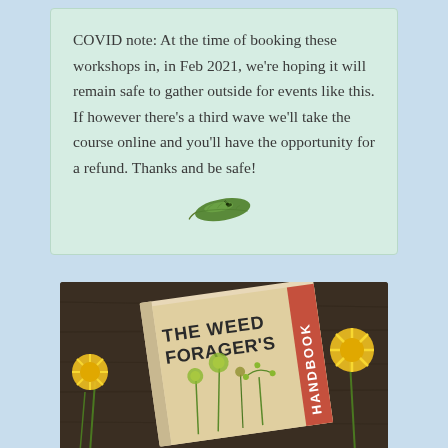COVID note: At the time of booking these workshops in, in Feb 2021, we're hoping it will remain safe to gather outside for events like this. If however there's a third wave we'll take the course online and you'll have the opportunity for a refund. Thanks and be safe!
[Figure (illustration): A decorative green leaf illustration used as a divider/ornament]
[Figure (photo): Photo of 'The Weed Forager's Handbook' book lying on a dark wooden surface surrounded by yellow dandelion flowers]